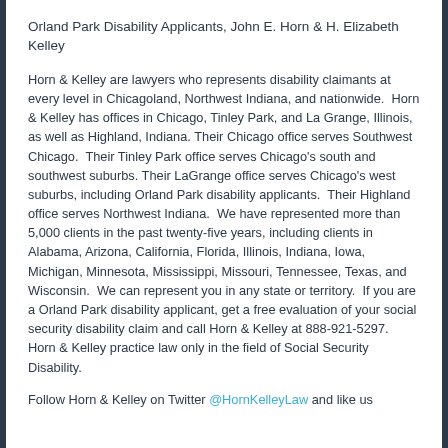Orland Park Disability Applicants, John E. Horn & H. Elizabeth Kelley
Horn & Kelley are lawyers who represents disability claimants at every level in Chicagoland, Northwest Indiana, and nationwide. Horn & Kelley has offices in Chicago, Tinley Park, and La Grange, Illinois, as well as Highland, Indiana. Their Chicago office serves Southwest Chicago. Their Tinley Park office serves Chicago's south and southwest suburbs. Their LaGrange office serves Chicago's west suburbs, including Orland Park disability applicants. Their Highland office serves Northwest Indiana. We have represented more than 5,000 clients in the past twenty-five years, including clients in Alabama, Arizona, California, Florida, Illinois, Indiana, Iowa, Michigan, Minnesota, Mississippi, Missouri, Tennessee, Texas, and Wisconsin. We can represent you in any state or territory. If you are a Orland Park disability applicant, get a free evaluation of your social security disability claim and call Horn & Kelley at 888-921-5297. Horn & Kelley practice law only in the field of Social Security Disability.
Follow Horn & Kelley on Twitter @HornKelleyLaw and like us